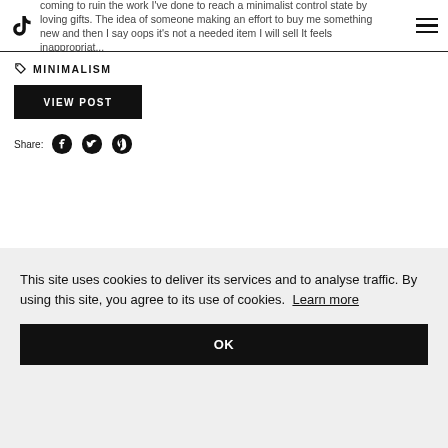...coming to ruin the work I've done to reach a minimalist control state by loving gifts. The idea of someone making an effort to buy me something new and then I say oops it's not a needed item I will sell It feels inappropriate...
MINIMALISM
VIEW POST
Share:
This site uses cookies to deliver its services and to analyse traffic. By using this site, you agree to its use of cookies. Learn more
OK